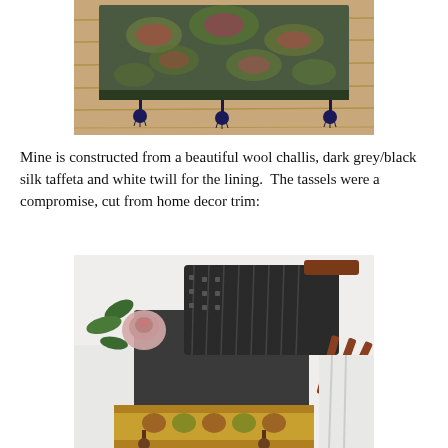[Figure (photo): A folded textile with intricate paisley/floral pattern in green, red, and pink tones lying on a wooden floor, with three dark navy blue tassels hanging from the bottom edge.]
Mine is constructed from a beautiful wool challis, dark grey/black silk taffeta and white twill for the lining.  The tassels were a compromise, cut from home decor trim:
[Figure (photo): A flat lay showing sewing/craft materials: a pink rose with green leaves, a dark grey/black folded fan with brown wooden frame, white fabric, dark textile with ornate gold and multicolor trim, and brown tassels, arranged on a white surface.]